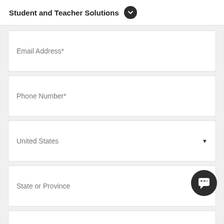Student and Teacher Solutions
Email Address*
Phone Number*
United States
State or Province
Who are you?...
How can we help you?*